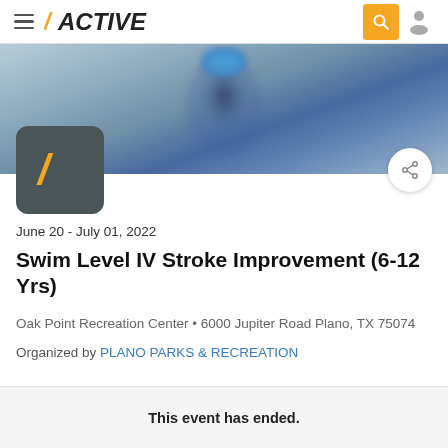ACTIVE
[Figure (photo): Blurred photo of a swimmer in a pool wearing a blue swim cap, viewed from above/side, with light blue water background.]
June 20 - July 01, 2022
Swim Level IV Stroke Improvement (6-12 Yrs)
Oak Point Recreation Center • 6000 Jupiter Road Plano, TX 75074
Organized by PLANO PARKS & RECREATION
This event has ended.